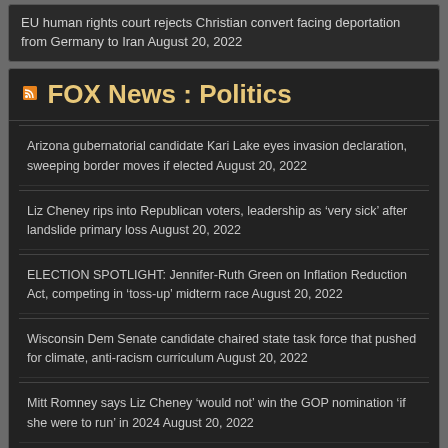EU human rights court rejects Christian convert facing deportation from Germany to Iran August 20, 2022
FOX News : Politics
Arizona gubernatorial candidate Kari Lake eyes invasion declaration, sweeping border moves if elected August 20, 2022
Liz Cheney rips into Republican voters, leadership as ‘very sick’ after landslide primary loss August 20, 2022
ELECTION SPOTLIGHT: Jennifer-Ruth Green on Inflation Reduction Act, competing in ‘toss-up’ midterm race August 20, 2022
Wisconsin Dem Senate candidate chaired state task force that pushed for climate, anti-racism curriculum August 20, 2022
Mitt Romney says Liz Cheney ‘would not’ win the GOP nomination ‘if she were to run’ in 2024 August 20, 2022